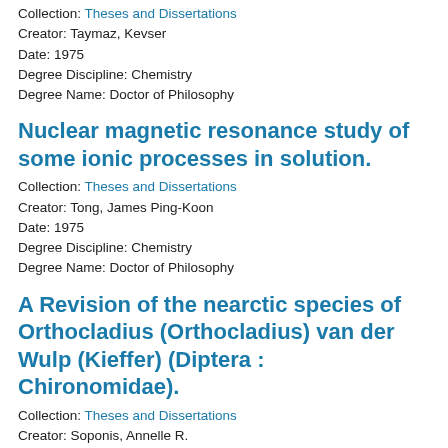Collection: Theses and Dissertations
Creator: Taymaz, Kevser
Date: 1975
Degree Discipline: Chemistry
Degree Name: Doctor of Philosophy
Nuclear magnetic resonance study of some ionic processes in solution.
Collection: Theses and Dissertations
Creator: Tong, James Ping-Koon
Date: 1975
Degree Discipline: Chemistry
Degree Name: Doctor of Philosophy
A Revision of the nearctic species of Orthocladius (Orthocladius) van der Wulp (Kieffer) (Diptera : Chironomidae).
Collection: Theses and Dissertations
Creator: Soponis, Annelle R.
Date: 1975